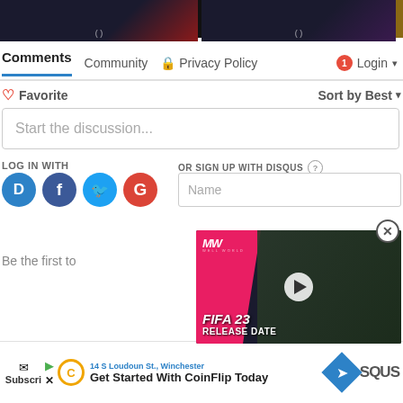[Figure (screenshot): Top strip showing two dark gaming thumbnails side by side, with a narrow brown/gold strip at right edge]
[Figure (screenshot): Disqus comments navigation bar with tabs: Comments (active, underlined in blue), Community, Privacy Policy (with lock icon), and Login (with red badge showing 1 and dropdown arrow)]
[Figure (screenshot): Favorite button with heart icon on left, Sort by Best dropdown on right]
[Figure (screenshot): Start the discussion... text input field]
LOG IN WITH
[Figure (screenshot): Social login icons: Disqus (blue D), Facebook (dark blue f), Twitter (light blue bird), Google (red G)]
OR SIGN UP WITH DISQUS
[Figure (screenshot): Name text input field for Disqus sign up]
[Figure (screenshot): FIFA 23 Release Date video ad overlay with pink/magenta branding, MW logo, player photo, play button, and text FIFA 23 RELEASE DATE]
Be the first to
[Figure (screenshot): Bottom advertisement bar with Subscribe button, CoinFlip ad showing address 14 S Loudoun St., Winchester and text Get Started With CoinFlip Today, navigation diamond icon, and SQUS logo]